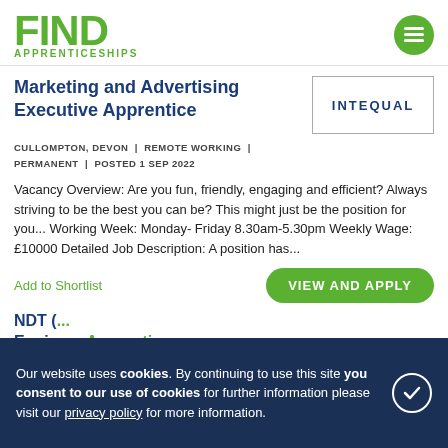FIND APPRENTICESHIPS
Marketing and Advertising Executive Apprentice
[Figure (logo): INTEQUAL company logo in a bordered box]
CULLOMPTON, DEVON | REMOTE WORKING | PERMANENT | POSTED 1 SEP 2022
Vacancy Overview: Are you fun, friendly, engaging and efficient? Always striving to be the best you can be? This might just be the position for you... Working Week: Monday- Friday 8.30am-5.30pm Weekly Wage: £10000 Detailed Job Description: A position has...
Add to Shortlist
VIEW AND APPLY
Our website uses cookies. By continuing to use this site you consent to our use of cookies for further information please visit our privacy policy for more information.
NDT ( ... ) Engineering ... Apprentice ... Babcock